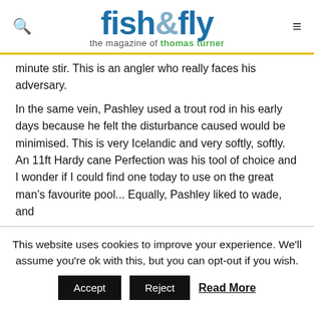fish&fly the magazine of thomas turner
minute stir. This is an angler who really faces his adversary.
In the same vein, Pashley used a trout rod in his early days because he felt the disturbance caused would be minimised. This is very Icelandic and very softly, softly. An 11ft Hardy cane Perfection was his tool of choice and I wonder if I could find one today to use on the great man's favourite pool... Equally, Pashley liked to wade, and
This website uses cookies to improve your experience. We'll assume you're ok with this, but you can opt-out if you wish.
Accept  Reject  Read More